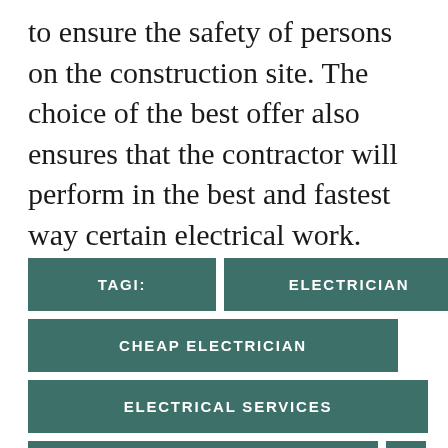to ensure the safety of persons on the construction site. The choice of the best offer also ensures that the contractor will perform in the best and fastest way certain electrical work.
TAGI:
ELECTRICIAN
LONDON
CHEAP ELECTRICIAN
ELECTRICAL SERVICES
APPLIANCE REPAIR
WIRING